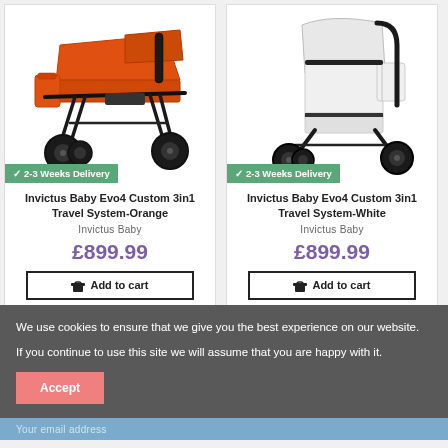[Figure (photo): Orange baby travel system stroller with carrycot on black frame with 4 wheels]
2-3 Weeks Delivery
Invictus Baby Evo4 Custom 3in1 Travel System-Orange
Invictus Baby
£899.99
Add to cart
[Figure (photo): White baby travel system stroller with seat on black frame with 4 wheels]
2-3 Weeks Delivery
Invictus Baby Evo4 Custom 3in1 Travel System-White
Invictus Baby
£899.99
Add to cart
We use cookies to ensure that we give you the best experience on our website.

If you continue to use this site we will assume that you are happy with it.
Accept
Your email address